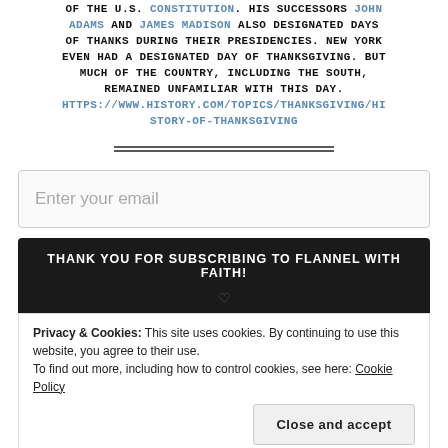OF THE U.S. CONSTITUTION. HIS SUCCESSORS JOHN ADAMS AND JAMES MADISON ALSO DESIGNATED DAYS OF THANKS DURING THEIR PRESIDENCIES. NEW YORK EVEN HAD A DESIGNATED DAY OF THANKSGIVING. BUT MUCH OF THE COUNTRY, INCLUDING THE SOUTH, REMAINED UNFAMILIAR WITH THIS DAY. HTTPS://WWW.HISTORY.COM/TOPICS/THANKSGIVING/HISTORY-OF-THANKSGIVING
Enter your email
THANK YOU FOR SUBSCRIBING TO FLANNEL WITH FAITH!
Privacy & Cookies: This site uses cookies. By continuing to use this website, you agree to their use. To find out more, including how to control cookies, see here: Cookie Policy
Close and accept